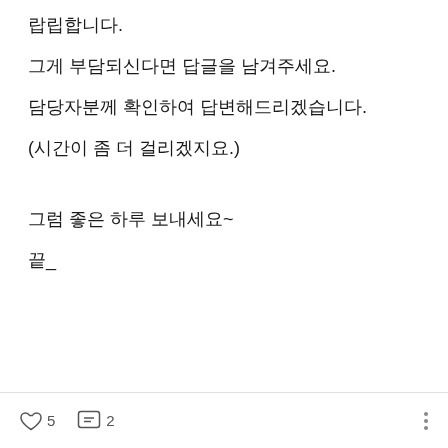랍립합니다.
그게 부담되신다면 답글을 남겨주세요.
담당자분께 확인하여 답변해드리겠습니다.
(시간이 좀 더 걸리겠지요.)
그럼 좋은 하루 보내세요~
끝_
♡ 5   ☐ 2